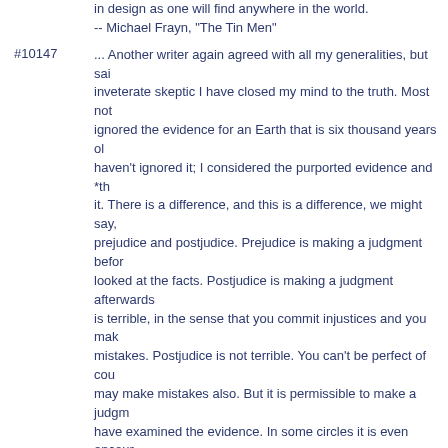in design as one will find anywhere in the world.
-- Michael Frayn, "The Tin Men"
#10147 ... Another writer again agreed with all my generalities, but said as an inveterate skeptic I have closed my mind to the truth. Most notably, I ignored the evidence for an Earth that is six thousand years old. But I haven't ignored it; I considered the purported evidence and *thought about it. There is a difference, and this is a difference, we might say, between prejudice and postjudice. Prejudice is making a judgment before you have looked at the facts. Postjudice is making a judgment afterwards. Prejudice is terrible, in the sense that you commit injustices and you make mistakes. Postjudice is not terrible. You can't be perfect of course; you may make mistakes also. But it is permissible to make a judgment after you have examined the evidence. In some circles it is even encouraged. -- Carl Sagan, "The Burden of Skepticism"
#10148 Any circuit design must contain at least one part which is obsolete, two which are unobtainable, and three parts which are still under development.
#10149 Any sufficiently advanced technology is indistinguishable from magic.
prev 1 2 3 4 5 6 7 8 9 10 ... 63 next
art computers cookie definitions education ethnic food fortunes law literature love medicine men-women news paradoxum people politics riddles science sports wisdom work
link to BGA - contact us
fortunes - donate - advertise
Terms of Service